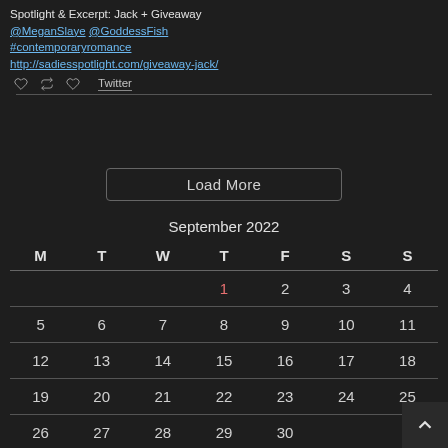Spotlight & Excerpt: Jack + Giveaway @MeganSlaye @GoddessFish #contemporaryromance http://sadiesspotlight.com/giveaway-jack/
Twitter
Load More
| M | T | W | T | F | S | S |
| --- | --- | --- | --- | --- | --- | --- |
|  |  |  | 1 | 2 | 3 | 4 |
| 5 | 6 | 7 | 8 | 9 | 10 | 11 |
| 12 | 13 | 14 | 15 | 16 | 17 | 18 |
| 19 | 20 | 21 | 22 | 23 | 24 | 25 |
| 26 | 27 | 28 | 29 | 30 |  |  |